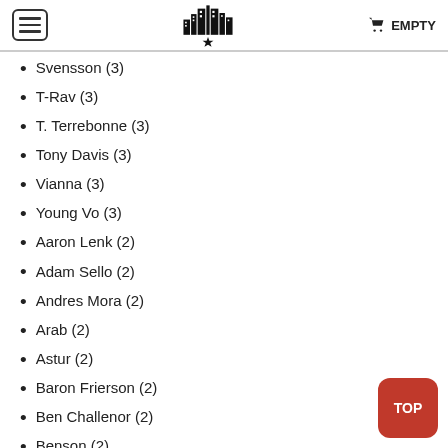EMPTY
Svensson (3)
T-Rav (3)
T. Terrebonne (3)
Tony Davis (3)
Vianna (3)
Young Vo (3)
Aaron Lenk (2)
Adam Sello (2)
Andres Mora (2)
Arab (2)
Astur (2)
Baron Frierson (2)
Ben Challenor (2)
Benson (2)
Bowers (2)
Brian Flick (2)
Brian Palmer (2)
Brooke (2)
Ceglia (2)